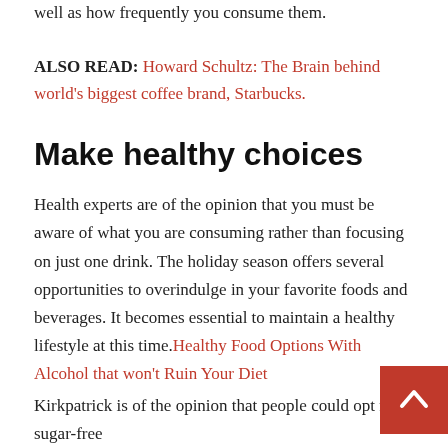well as how frequently you consume them.
ALSO READ: Howard Schultz: The Brain behind world's biggest coffee brand, Starbucks.
Make healthy choices
Health experts are of the opinion that you must be aware of what you are consuming rather than focusing on just one drink. The holiday season offers several opportunities to overindulge in your favorite foods and beverages. It becomes essential to maintain a healthy lifestyle at this time. Healthy Food Options With Alcohol that won't Ruin Your Diet
Kirkpatrick is of the opinion that people could opt for sugar-free